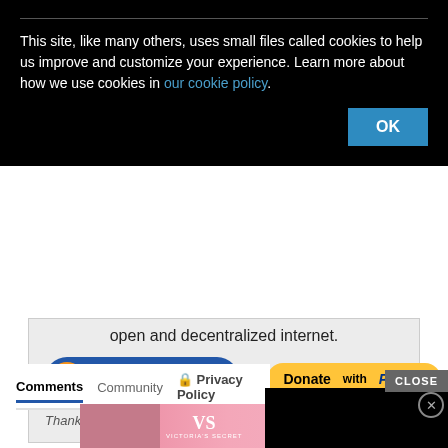This site, like many others, uses small files called cookies to help us improve and customize your experience. Learn more about how we use cookies in our cookie policy.
[Figure (screenshot): OK button (blue) for accepting cookies]
open and decentralized internet.
[Figure (screenshot): Donate with Crypto! button (orange bitcoin icon, blue pill button)]
or
[Figure (screenshot): Donate with PayPal button (yellow pill button)]
Thanks to our donors of 2
[Figure (screenshot): Black loading spinner video overlay with X close button]
Comments  Community  🔒 Privacy Policy
[Figure (screenshot): Victoria's Secret advertisement banner with SHOP THE COLLECTION and SHOP NOW button]
CLOSE